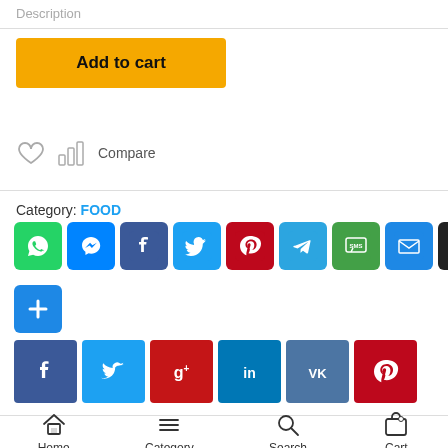Description
Add to cart
[Figure (infographic): Heart/wishlist icon and bar chart/compare icon with Compare text]
Category: FOOD
[Figure (infographic): Social share icon buttons: WhatsApp, Messenger, Facebook, Twitter, Pinterest, Telegram, SMS, Email, Instapaper, Skype, plus button]
[Figure (infographic): Social share buttons row 2: Facebook, Twitter, Google+, LinkedIn, VK, Pinterest]
Home   Category   Search   Cart